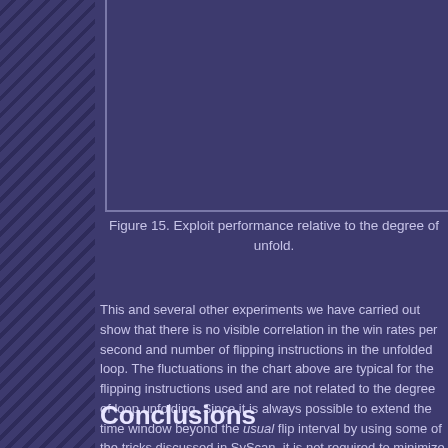Figure 15. Exploit performance relative to the degree of unfold.
This and several other experiments we have carried out show that there is no visible correlation in the win rates per second and number of flipping instructions in the unfolded loop. The fluctuations in the chart above are typical for the flipping instructions used and are not related to the degree of loop unfolding. Since it is always possible to extend the time window beyond the usual flip interval by using some of the tricks discussed in SyScan, it is not required to minimize the interval even further (using concepts such as it doesn't have any effect on the final result.
Conclusions